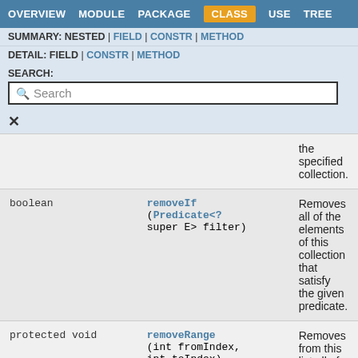OVERVIEW  MODULE  PACKAGE  CLASS  USE  TREE
SUMMARY: NESTED | FIELD | CONSTR | METHOD
DETAIL: FIELD | CONSTR | METHOD
SEARCH:
| Type | Method | Description |
| --- | --- | --- |
|  |  | the specified collection. |
| boolean | removeIf(Predicate<? super E> filter) | Removes all of the elements of this collection that satisfy the given predicate. |
| protected void | removeRange(int fromIndex, int toIndex) | Removes from this list all of the... |